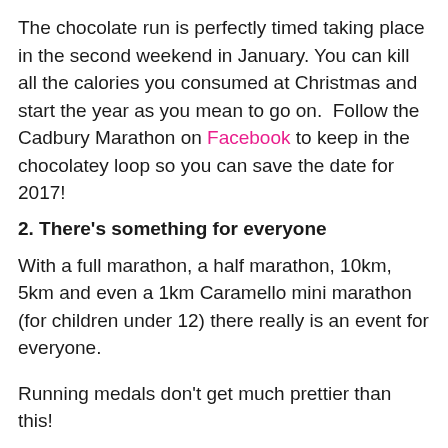The chocolate run is perfectly timed taking place in the second weekend in January. You can kill all the calories you consumed at Christmas and start the year as you mean to go on.  Follow the Cadbury Marathon on Facebook to keep in the chocolatey loop so you can save the date for 2017!
2. There’s something for everyone
With a full marathon, a half marathon, 10km, 5km and even a 1km Caramello mini marathon (for children under 12) there really is an event for everyone.
Running medals don’t get much prettier than this!
3. Races Start at Different Times